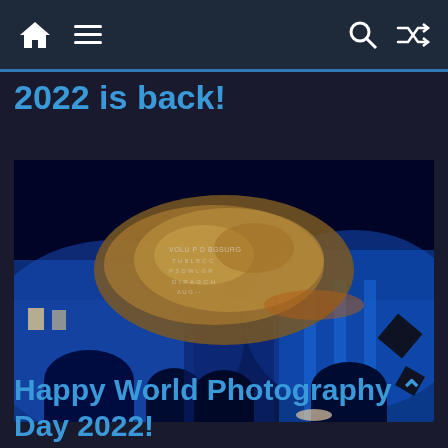Navigation bar with home, menu, search, and shuffle icons
2022 is back!
[Figure (photo): Night photograph of a historic building illuminated with blue light projection, showing architectural arches and columns. A golden/orange rocky landscape image is projected onto the facade with text overlay. The scene is a light show or projection mapping event.]
Happy World Photography Day 2022!